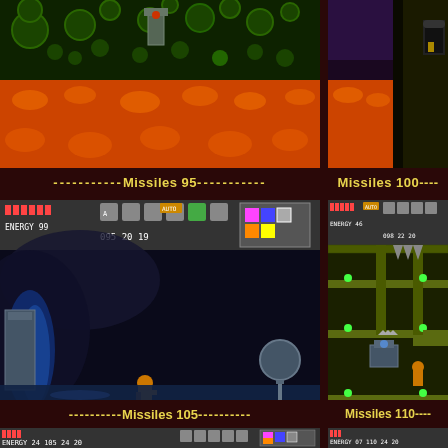[Figure (screenshot): Top-left: Metroid video game screenshot showing lava/magma cave environment with orange terrain and green alien structures]
[Figure (screenshot): Top-right: Metroid video game screenshot showing dark cave with an archway/door]
----Missiles 95----
----Missiles 100----
[Figure (screenshot): Middle-left: Metroid game screenshot showing Samus character in dark cave with blue light, HUD shows ENERGY 99, 095, 20, 19]
[Figure (screenshot): Middle-right: Metroid game screenshot showing Samus in green industrial area with spikes, HUD shows ENERGY 46, 098, 22, 20]
----Missiles 105----
----Missiles 110----
[Figure (screenshot): Bottom-left: Metroid game screenshot showing industrial/green area, HUD shows ENERGY 24, 105, 24, 20]
[Figure (screenshot): Bottom-right: Metroid game screenshot showing Samus in cave with blue energy sparks, HUD shows ENERGY 07, 110, 24, 20]